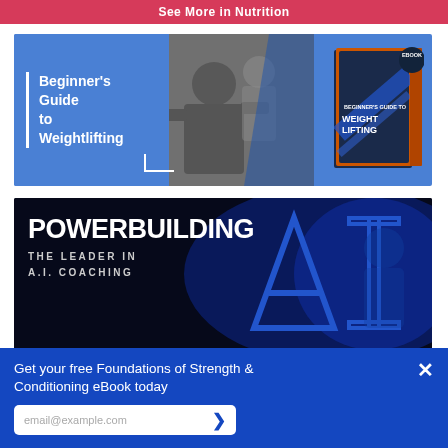See More in Nutrition
[Figure (illustration): Banner ad for Beginner's Guide to Weightlifting eBook. Blue background with white text on left side reading 'Beginner's Guide to Weightlifting', black and white photo of man with glasses in center, book cover image on right, with EBOOK badge.]
[Figure (illustration): Banner ad for Powerbuilding AI Coaching. Dark blue/black background with large white bold text 'POWERBUILDING' and subtitle 'THE LEADER IN A.I. COACHING', large stylized 'AI' letters on right side.]
Get your free Foundations of Strength & Conditioning eBook today
email@example.com